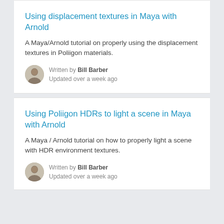Using displacement textures in Maya with Arnold
A Maya/Arnold tutorial on properly using the displacement textures in Poliigon materials.
Written by Bill Barber
Updated over a week ago
Using Poliigon HDRs to light a scene in Maya with Arnold
A Maya / Arnold tutorial on how to properly light a scene with HDR environment textures.
Written by Bill Barber
Updated over a week ago